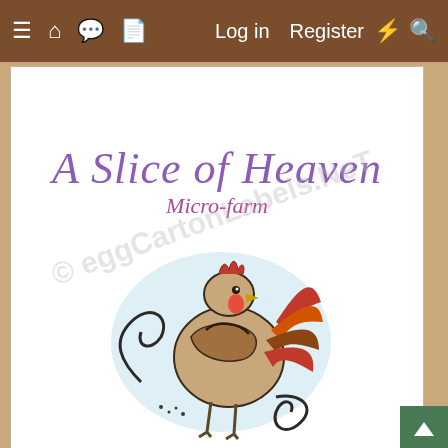≡  🏠  💬  📄    Log in   Register  ⚡  🔍
A Slice of Heaven Micro-farm
[Figure (illustration): Illustrated rooster/cockerel in red, orange, and tan colors on a light blue watercolor background. Stylized folk-art style with decorative swirling tail feathers and comb.]
Home-raised Eggs
Courtesy of Happy Hens
Eggs Courtesy of
Lisa's Lap Chickens